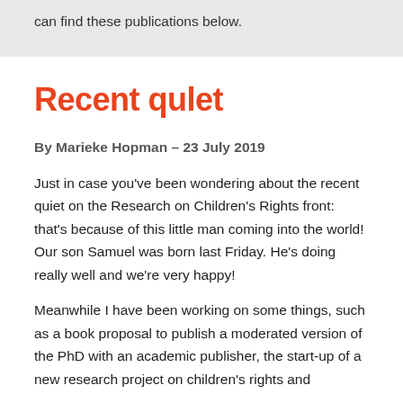can find these publications below.
Recent qulet
By Marieke Hopman – 23 July 2019
Just in case you've been wondering about the recent quiet on the Research on Children's Rights front: that's because of this little man coming into the world! Our son Samuel was born last Friday. He's doing really well and we're very happy!
Meanwhile I have been working on some things, such as a book proposal to publish a moderated version of the PhD with an academic publisher, the start-up of a new research project on children's rights...